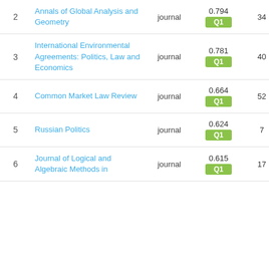| # | Title | Type | SJR | H index | Docs |
| --- | --- | --- | --- | --- | --- |
| 2 | Annals of Global Analysis and Geometry | journal | 0.794 Q1 | 34 | 61 |
| 3 | International Environmental Agreements: Politics, Law and Economics | journal | 0.781 Q1 | 40 | 41 |
| 4 | Common Market Law Review | journal | 0.664 Q1 | 52 | 92 |
| 5 | Russian Politics | journal | 0.624 Q1 | 7 | 21 |
| 6 | Journal of Logical and Algebraic Methods in | journal | 0.615 Q1 | 17 | 52 |